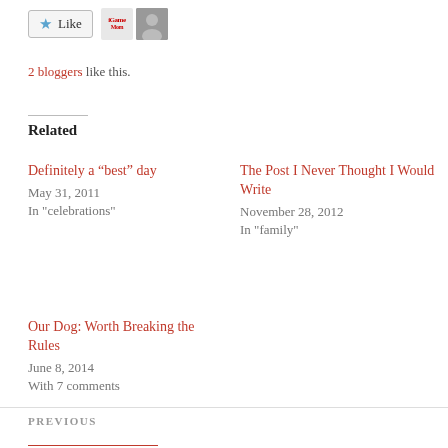[Figure (other): Like button with star icon and two blogger avatar thumbnails]
2 bloggers like this.
Related
Definitely a “best” day
May 31, 2011
In "celebrations"
The Post I Never Thought I Would Write
November 28, 2012
In "family"
Our Dog: Worth Breaking the Rules
June 8, 2014
With 7 comments
PREVIOUS